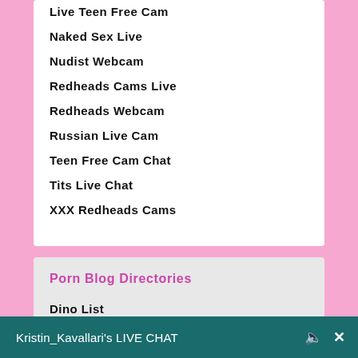Live Teen Free Cam
Naked Sex Live
Nudist Webcam
Redheads Cams Live
Redheads Webcam
Russian Live Cam
Teen Free Cam Chat
Tits Live Chat
XXX Redheads Cams
Porn Blog Directories
Dino List
Kristin_Kavallari's LIVE CHAT